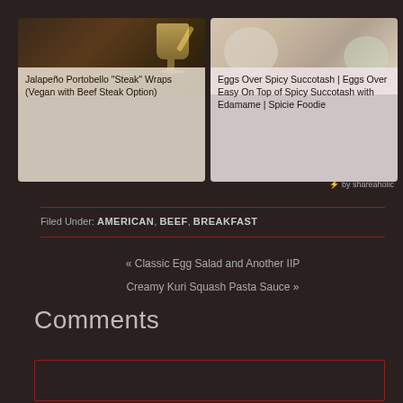[Figure (photo): Card with dark food/drink photo on left showing a glass with garnish, titled Jalapeño Portobello]
Jalapeño Portobello "Steak" Wraps (Vegan with Beef Steak Option)
[Figure (photo): Card with light food photo on right, titled Eggs Over Spicy Succotash]
Eggs Over Spicy Succotash | Eggs Over Easy On Top of Spicy Succotash with Edamame | Spicie Foodie
⚡ by shareaholic
Filed Under: AMERICAN, BEEF, BREAKFAST
« Classic Egg Salad and Another IIP
Creamy Kuri Squash Pasta Sauce »
Comments